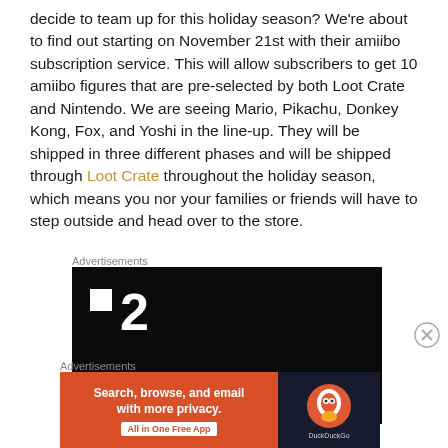decide to team up for this holiday season? We're about to find out starting on November 21st with their amiibo subscription service. This will allow subscribers to get 10 amiibo figures that are pre-selected by both Loot Crate and Nintendo. We are seeing Mario, Pikachu, Donkey Kong, Fox, and Yoshi in the line-up. They will be shipped in three different phases and will be shipped through Loot Crate throughout the holiday season, which means you nor your families or friends will have to step outside and head over to the store.
[Figure (other): Advertisement banner showing a dark/black background with white square icon and large number '2', resembling a media or streaming service logo]
[Figure (other): DuckDuckGo advertisement with orange background reading 'Search, browse, and email with more privacy. All in One Free App' with DuckDuckGo duck logo on dark background]